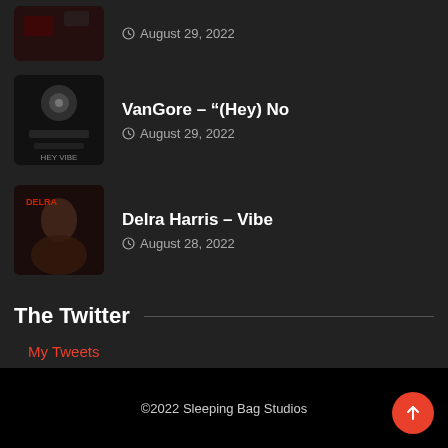[Figure (photo): Top partial entry showing thumbnail (cropped music act image) and date August 29, 2022]
August 29, 2022
[Figure (photo): Album artwork thumbnail for VanGore – (Hey) No, dark stylized image]
VanGore – "(Hey) No
August 29, 2022
[Figure (photo): Thumbnail for Delra Harris – Vibe, showing face of artist]
Delra Harris – Vibe
August 28, 2022
The Twitter
My Tweets
©2022 Sleeping Bag Studios